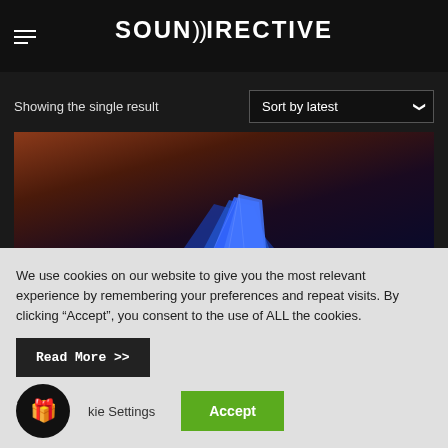SOUNDIRECTIVE
Showing the single result
Sort by latest
[Figure (photo): Product image with blue geometric shape against dark reddish-brown background]
We use cookies on our website to give you the most relevant experience by remembering your preferences and repeat visits. By clicking “Accept”, you consent to the use of ALL the cookies.
Read More >>
.
kie Settings
Accept